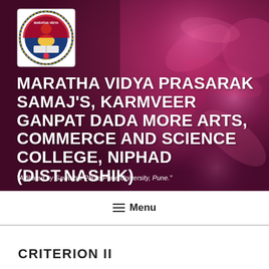[Figure (logo): Circular institutional logo of Maratha Vidya Prasarak Samaj with emblem and decorative border]
MARATHA VIDYA PRASARAK SAMAJ'S, KARMVEER GANPAT DADA MORE ARTS, COMMERCE AND SCIENCE COLLEGE, NIPHAD (DIST.NASHIK)
"Affiliated by Savitribai Phule Pune University, Pune."
≡ Menu
CRITERION II